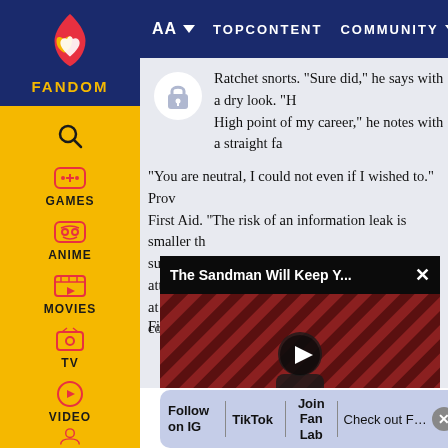AA  TOPCONTENT  COMMUNITY
Ratchet snorts. "Sure did," he says with a dry look. "High point of my career," he notes with a straight fa...
"You are neutral, I could not even if I wished to." Pro... First Aid. "The risk of an information leak is smaller th... suddenly, head tilting slightly as he shifts his attenti... at the report pinging him. "Jazz has successfully co...
[Figure (screenshot): Video player overlay showing 'The Sandman Will Keep Y...' with a play button on a dark thumbnail showing a figure against a striped background. A close button (X) is in the top right corner. The Loop branding visible at bottom.]
Fi...                                                    sly
Follow on IG  TikTok  Join Fan Lab  Check out Fandom Quizzes and cha...